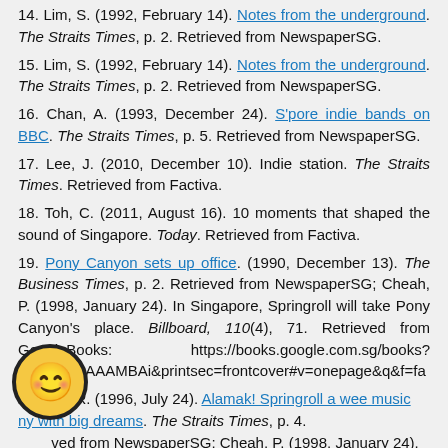14. Lim, S. (1992, February 14). Notes from the underground. The Straits Times, p. 2. Retrieved from NewspaperSG.
15. Lim, S. (1992, February 14). Notes from the underground. The Straits Times, p. 2. Retrieved from NewspaperSG.
16. Chan, A. (1993, December 24). S'pore indie bands on BBC. The Straits Times, p. 5. Retrieved from NewspaperSG.
17. Lee, J. (2010, December 10). Indie station. The Straits Times. Retrieved from Factiva.
18. Toh, C. (2011, August 16). 10 moments that shaped the sound of Singapore. Today. Retrieved from Factiva.
19. Pony Canyon sets up office. (1990, December 13). The Business Times, p. 2. Retrieved from NewspaperSG; Cheah, P. (1998, January 24). In Singapore, Springroll will take Pony Canyon's place. Billboard, 110(4), 71. Retrieved from GoogleBooks: https://books.google.com.sg/books?id=nA0EAAAAMBAi&printsec=frontcover#v=onepage&q&f=fa
20. Lim, R. (1996, July 24). Alamak! Springroll a wee music company with big dreams. The Straits Times, p. 4. Retrieved from NewspaperSG; Cheah, P. (1998, January 24).